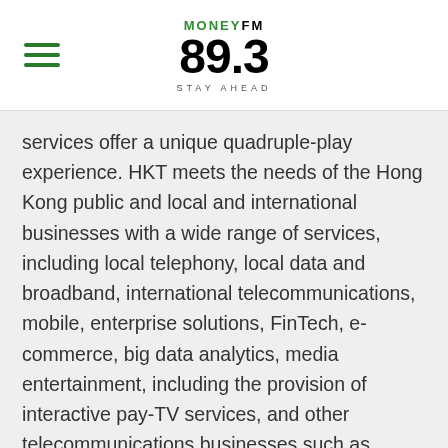MoneyFM 89.3 Stay Ahead
services offer a unique quadruple-play experience. HKT meets the needs of the Hong Kong public and local and international businesses with a wide range of services, including local telephony, local data and broadband, international telecommunications, mobile, enterprise solutions, FinTech, e-commerce, big data analytics, media entertainment, including the provision of interactive pay-TV services, and other telecommunications businesses such as customer premises equipment sales,
ON AIR  NEWS HEADLINES
[Figure (logo): Available on the App Store badge (black background with Apple logo)]
[Figure (other): Radio/play button with radiating lines in teal/green, circular play icon]